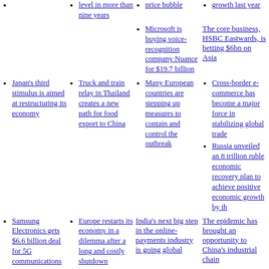level in more than nine years
price bubble
growth last year
Microsoft is buying voice-recognition company Nuance for $19.7 billion
The core business, HSBC Eastwards, is betting $6bn on Asia
Japan's third stimulus is aimed at restructuring its economy
Truck and train relay in Thailand creates a new path for food export to China
Many European countries are stepping up measures to contain and control the outbreak
Cross-border e-commerce has become a major force in stabilizing global trade
Russia unveiled an 8 trillion ruble economic recovery plan to achieve positive economic growth by th
Samsung Electronics gets $6.6 billion deal for 5G communications
Europe restarts its economy in a dilemma after a long and costly shutdown
India's next big step in the online-payments industry is going global
The epidemic has brought an opportunity to China's industrial chain
Japanese media: New crown epidemic boosts Asian e-commerce boom
The Japanese government finalized the second supplementary budget to strengthen business support
Italian government issues' restart decree '
How should Chinese enterprise write good customs duty administration investigation report
What is the
South Korea to